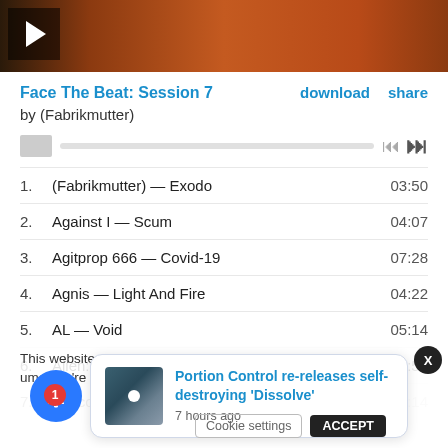[Figure (photo): Album cover thumbnail with orange/brown textured background and play button icon overlay]
Face The Beat: Session 7  download  share
by (Fabrikmutter)
[Figure (other): Audio player progress bar with skip controls]
1.  (Fabrikmutter) — Exodo  03:50
2.  Against I — Scum  04:07
3.  Agitprop 666 — Covid-19  07:28
4.  Agnis — Light And Fire  04:22
5.  AL — Void  05:14
6.  Alien:Nation — Dimenxional Pleasures (feat. ...  03:57
7.  Anticorpi — Guarmi / Heal Me  (partial)
This website us...ume you're...
[Figure (other): Notification popup: Portion Control re-releases self-destroying 'Dissolve' — 7 hours ago, with album thumbnail]
Cookie settings  ACCEPT